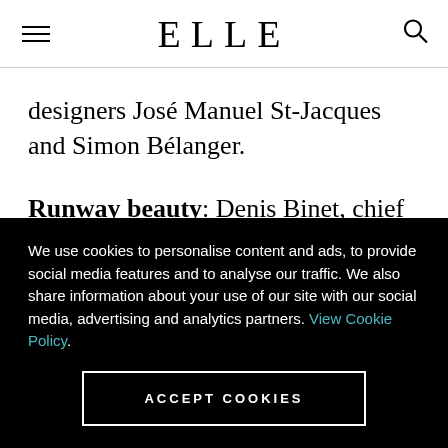ELLE
designers José Manuel St-Jacques and Simon Bélanger.
Runway beauty: Denis Binet, chief hair stylist for MFW and Pantene/Clairol Quebec consultant,
We use cookies to personalise content and ads, to provide social media features and to analyse our traffic. We also share information about your use of our site with our social media, advertising and analytics partners. View Cookie Policy.
ACCEPT COOKIES